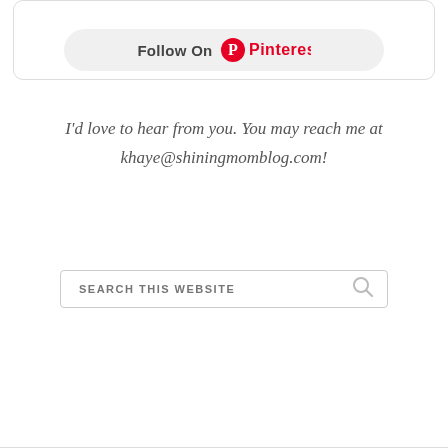[Figure (screenshot): Pinterest follow button widget inside a rounded card with calendar thumbnail images visible at the top. Contains a 'Follow On Pinterest' button with the Pinterest logo in red.]
I'd love to hear from you. You may reach me at khaye@shiningmomblog.com!
[Figure (screenshot): Search box with placeholder text 'SEARCH THIS WEBSITE' and a magnifying glass icon on the right.]